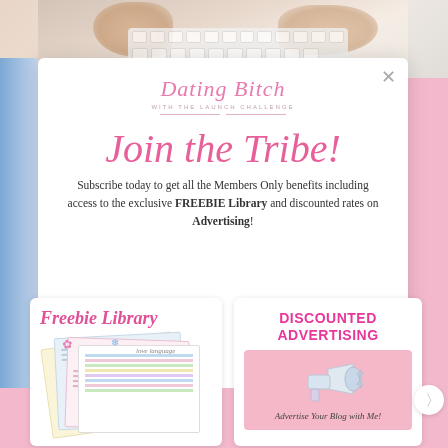[Figure (photo): Top portion showing hands over a keyboard on a white/pink background]
Join the Tribe!
Subscribe today to get all the Members Only benefits including access to the exclusive FREEBIE Library and discounted rates on Advertising!
[Figure (illustration): Freebie Library card showing colorful printed worksheets/documents fanned out, with italic pink cursive text 'Freebie Library']
[Figure (illustration): Discounted Advertising card showing a megaphone/bullhorn on pink background with text 'DISCOUNTED ADVERTISING' and 'Advertise Your Blog with Me!']